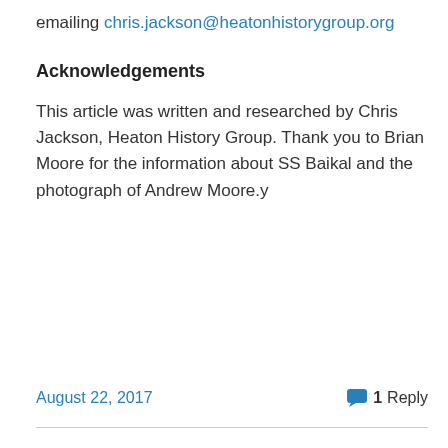emailing chris.jackson@heatonhistorygroup.org
Acknowledgements
This article was written and researched by Chris Jackson, Heaton History Group. Thank you to Brian Moore for the information about SS Baikal and the photograph of Andrew Moore.y
August 22, 2017   1 Reply